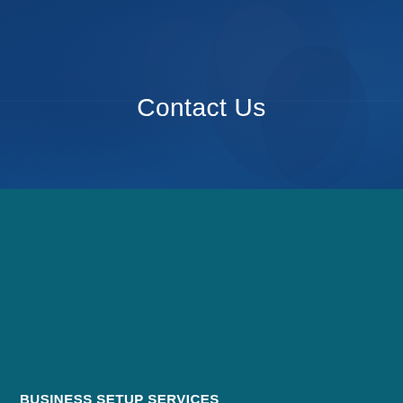[Figure (photo): Blue-tinted hero banner background with blurred person/photographer figure, overlaid with dark blue semi-transparent overlay]
Contact Us
BUSINESS SETUP SERVICES
Business Consultants in Abu Dhabi
Freezone Business Setup Abu Dhabi
Zonescorp Company Formation
Sharjah Publishing City
Contractor Classification
Business Liquidation Services